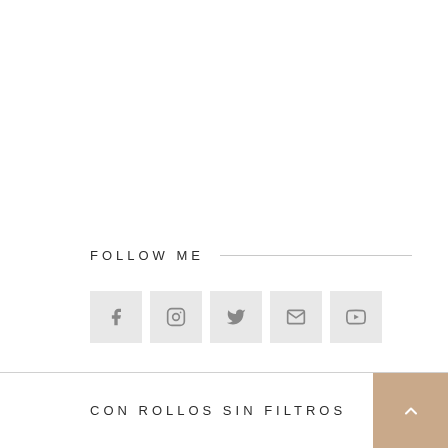FOLLOW ME
[Figure (other): Row of five social media icon buttons (Facebook, Instagram, Twitter, Email, YouTube) in light grey square backgrounds]
CON ROLLOS SIN FILTROS